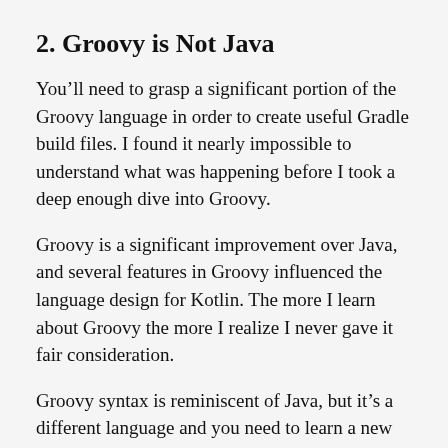2. Groovy is Not Java
You'll need to grasp a significant portion of the Groovy language in order to create useful Gradle build files. I found it nearly impossible to understand what was happening before I took a deep enough dive into Groovy.
Groovy is a significant improvement over Java, and several features in Groovy influenced the language design for Kotlin. The more I learn about Groovy the more I realize I never gave it fair consideration.
Groovy syntax is reminiscent of Java, but it's a different language and you need to learn a new set of rules and tricks. The fact that Groovy has access to existing Java libraries is primarily a benefit to the Gradle developers.